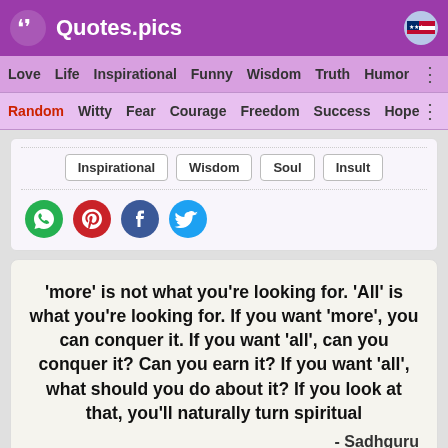Quotes.pics
Love  Life  Inspirational  Funny  Wisdom  Truth  Humor
Random  Witty  Fear  Courage  Freedom  Success  Hope
Inspirational  Wisdom  Soul  Insult
[Figure (infographic): Social sharing icons: WhatsApp (green), Pinterest (red), Facebook (blue), Twitter (light blue)]
'more' is not what you're looking for. 'All' is what you're looking for. If you want 'more', you can conquer it. If you want 'all', can you conquer it? Can you earn it? If you want 'all', what should you do about it? If you look at that, you'll naturally turn spiritual
- Sadhguru